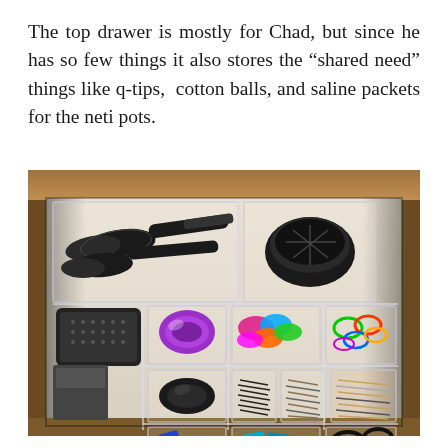The top drawer is mostly for Chad, but since he has so few things it also stores the “shared need” things like q-tips, cotton balls, and saline packets for the neti pots.
[Figure (photo): An organized bathroom drawer viewed from above, showing clear acrylic organizer bins containing various hair tools and accessories including round brushes, a hair dryer diffuser, a paddle brush, a wide-tooth comb, hair ties in various colors, bobby pins, hair clips, and other accessories arranged neatly in compartments within a wooden drawer.]